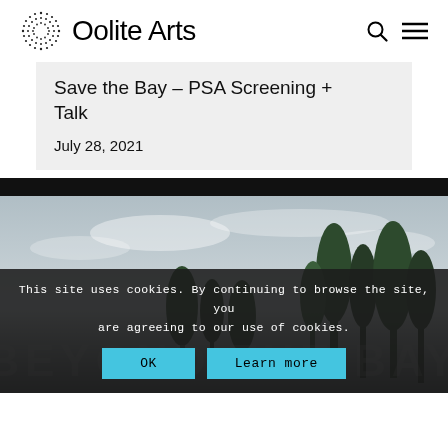Oolite Arts
Save the Bay – PSA Screening + Talk
July 28, 2021
[Figure (photo): Outdoor photo showing trees against a cloudy sky with text 'BEYOND THE BAY' overlaid, partially obscured by a cookie consent banner]
This site uses cookies. By continuing to browse the site, you are agreeing to our use of cookies.